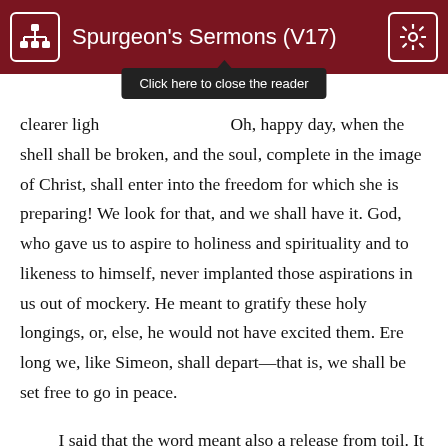Spurgeon's Sermons (V17)
clearer ligh Oh, happy day, when the shell shall be broken, and the soul, complete in the image of Christ, shall enter into the freedom for which she is preparing! We look for that, and we shall have it. God, who gave us to aspire to holiness and spirituality and to likeness to himself, never implanted those aspirations in us out of mockery. He meant to gratify these holy longings, or, else, he would not have excited them. Ere long we, like Simeon, shall depart—that is, we shall be set free to go in peace.
I said that the word meant also a release from toil. It is as though Simeon had been standing at the